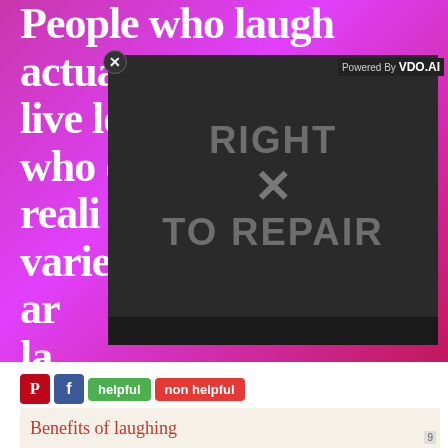[Figure (screenshot): Screenshot of a webpage showing a motivational quote image with pink/purple background. White bold text reads 'People who laugh actually live longer than those who d... reali... varie... ar... la...' and attribution '-James J. Walsh'. A video overlay modal shows 'No compatible source was found for this media.' with 'RIGHT TO REPAIR' text visible in background of video player. Close button (X) and 'Powered By VDO.AI' label visible. Below the image are Pinterest and Facebook social share buttons, 'helpful' (green) and 'non helpful' (red) buttons, and the beginning of a thumbnail showing 'Benefits of laughing' in cursive script.]